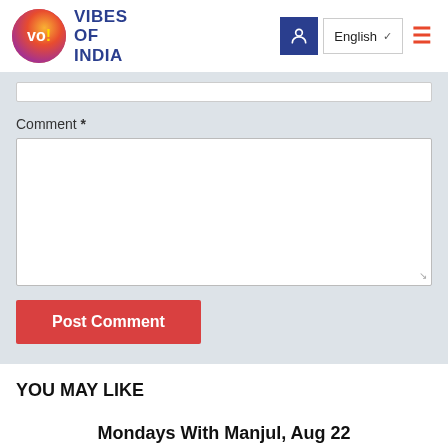[Figure (logo): Vibes of India logo with circular colorful icon and blue text]
[Figure (screenshot): Header navigation with user icon, English language selector with chevron, and hamburger menu in red]
Comment *
[Figure (screenshot): Comment text area input field, empty, with resize handle]
[Figure (screenshot): Post Comment button in red]
YOU MAY LIKE
Mondays With Manjul, Aug 22